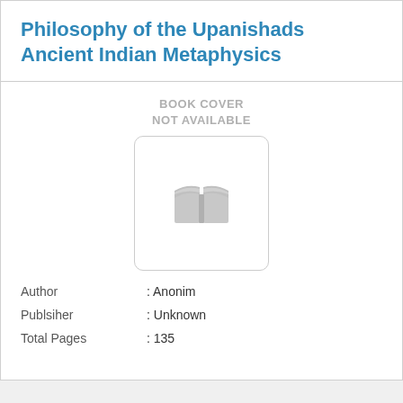Philosophy of the Upanishads Ancient Indian Metaphysics
[Figure (illustration): Book cover placeholder image with a grey open book icon and text 'BOOK COVER NOT AVAILABLE']
| Author | : Anonim |
| Publsiher | : Unknown |
| Total Pages | : 135 |